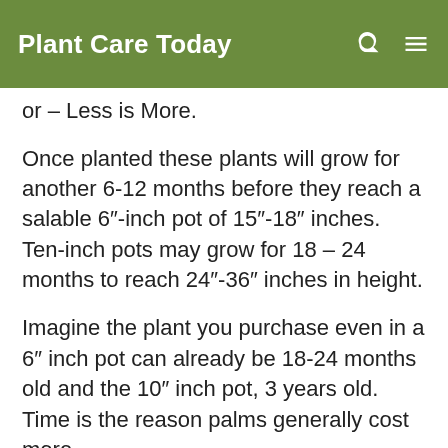Plant Care Today
or – Less is More.
Once planted these plants will grow for another 6-12 months before they reach a salable 6"-inch pot of 15"-18" inches. Ten-inch pots may grow for 18 – 24 months to reach 24"-36" inches in height.
Imagine the plant you purchase even in a 6" inch pot can already be 18-24 months old and the 10" inch pot, 3 years old. Time is the reason palms generally cost more.